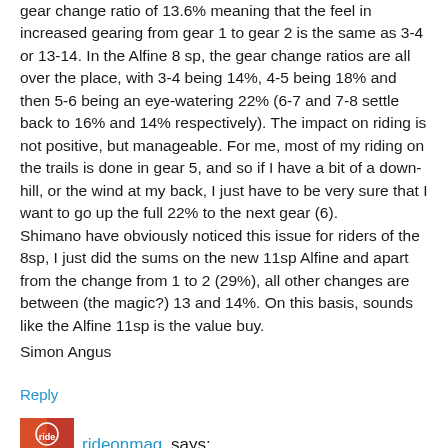gear change ratio of 13.6% meaning that the feel in increased gearing from gear 1 to gear 2 is the same as 3-4 or 13-14. In the Alfine 8 sp, the gear change ratios are all over the place, with 3-4 being 14%, 4-5 being 18% and then 5-6 being an eye-watering 22% (6-7 and 7-8 settle back to 16% and 14% respectively). The impact on riding is not positive, but manageable. For me, most of my riding on the trails is done in gear 5, and so if I have a bit of a down-hill, or the wind at my back, I just have to be very sure that I want to go up the full 22% to the next gear (6).
Shimano have obviously noticed this issue for riders of the 8sp, I just did the sums on the new 11sp Alfine and apart from the change from 1 to 2 (29%), all other changes are between (the magic?) 13 and 14%. On this basis, sounds like the Alfine 11sp is the value buy.
Simon Angus
Reply
rideonmag says: